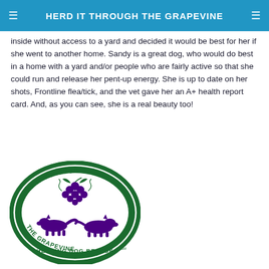HERD IT THROUGH THE GRAPEVINE
inside without access to a yard and decided it would be best for her if she went to another home. Sandy is a great dog, who would do best in a home with a yard and/or people who are fairly active so that she could run and release her pent-up energy. She is up to date on her shots, Frontline flea/tick, and the vet gave her an A+ health report card. And, as you can see, she is a real beauty too!
[Figure (logo): Herd It Through The Grapevine Herding Dog Rescue logo — oval green and white emblem with two herding dogs and grape cluster, text reading HERD IT THROUGH THE GRAPEVINE and HERDING DOG RESCUE]